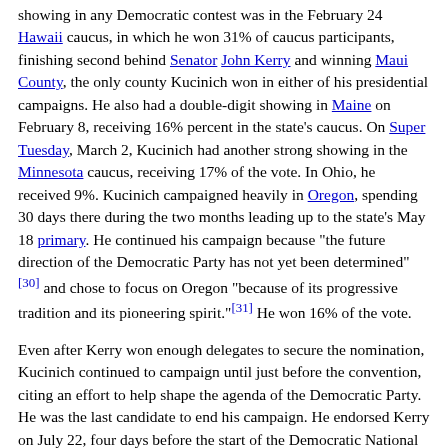showing in any Democratic contest was in the February 24 Hawaii caucus, in which he won 31% of caucus participants, finishing second behind Senator John Kerry and winning Maui County, the only county Kucinich won in either of his presidential campaigns. He also had a double-digit showing in Maine on February 8, receiving 16% percent in the state's caucus. On Super Tuesday, March 2, Kucinich had another strong showing in the Minnesota caucus, receiving 17% of the vote. In Ohio, he received 9%. Kucinich campaigned heavily in Oregon, spending 30 days there during the two months leading up to the state's May 18 primary. He continued his campaign because "the future direction of the Democratic Party has not yet been determined"[30] and chose to focus on Oregon "because of its progressive tradition and its pioneering spirit."[31] He won 16% of the vote.
Even after Kerry won enough delegates to secure the nomination, Kucinich continued to campaign until just before the convention, citing an effort to help shape the agenda of the Democratic Party. He was the last candidate to end his campaign. He endorsed Kerry on July 22, four days before the start of the Democratic National Convention.[32]
2008